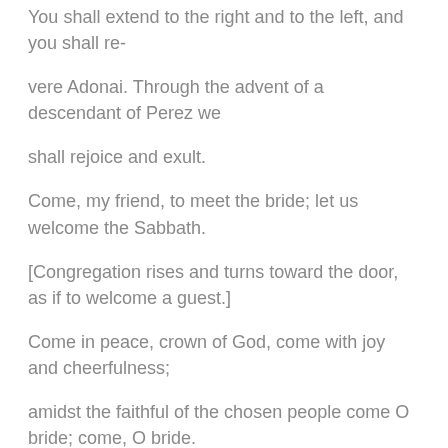You shall extend to the right and to the left, and you shall re-
vere Adonai. Through the advent of a descendant of Perez we
shall rejoice and exult.
Come, my friend, to meet the bride; let us welcome the Sabbath.
[Congregation rises and turns toward the door, as if to welcome a guest.]
Come in peace, crown of God, come with joy and cheerfulness;
amidst the faithful of the chosen people come O bride; come, O bride.
Come, my friend, to meet the bride; let us welcome the Sabbath.